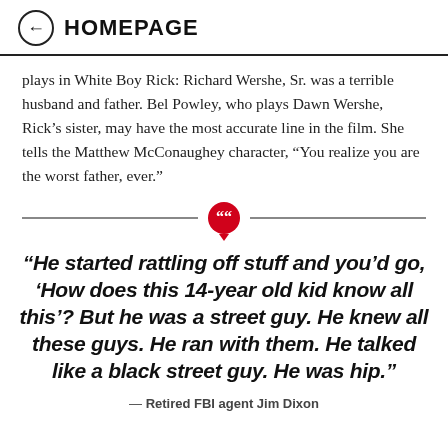HOMEPAGE
plays in White Boy Rick: Richard Wershe, Sr. was a terrible husband and father. Bel Powley, who plays Dawn Wershe, Rick’s sister, may have the most accurate line in the film. She tells the Matthew McConaughey character, “You realize you are the worst father, ever.”
“He started rattling off stuff and you’d go, ‘How does this 14-year old kid know all this’? But he was a street guy. He knew all these guys. He ran with them. He talked like a black street guy. He was hip.”
— Retired FBI agent Jim Dixon